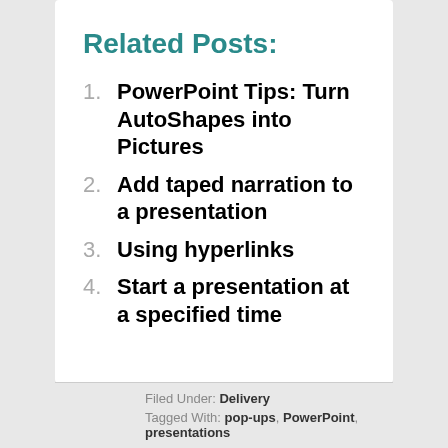Related Posts:
PowerPoint Tips: Turn AutoShapes into Pictures
Add taped narration to a presentation
Using hyperlinks
Start a presentation at a specified time
Filed Under: Delivery
Tagged With: pop-ups, PowerPoint, presentations